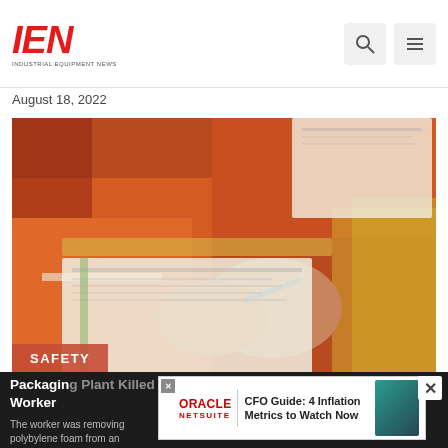IEN INDUSTRIAL EQUIPMENT NEWS
August 18, 2022
[Figure (photo): Industrial workers in orange safety uniforms writing on clipboards and documents, close-up of hands holding pen writing on paper]
SAFETY
Packaging Plant Killed Worker
The worker was removing polybylene foam from an